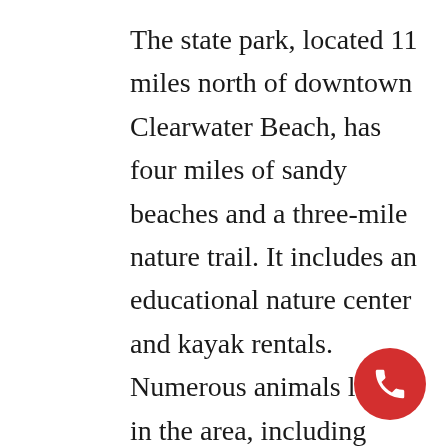The state park, located 11 miles north of downtown Clearwater Beach, has four miles of sandy beaches and a three-mile nature trail. It includes an educational nature center and kayak rentals. Numerous animals live in the area, including manatees. Bald eagles nest in the surrounding trees from October to May. Other bird species commonly seen here include ospreys and various songbirds.

Another popular activity in Clearwater is the Pirate Adventure. The pirate